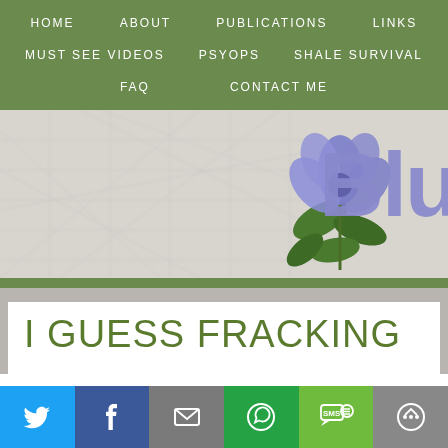HOME   ABOUT   PUBLICATIONS   LINKS   MUST SEE VIDEOS   PSYOPS   SHALE SURVIVAL   FAQ   CONTACT ME
[Figure (illustration): Website banner with faded map background, blue/purple flower, and partial text 'Blu' in large purple letters]
I GUESS FRACKING
[Figure (infographic): Social sharing bar with icons for Twitter, Facebook, Email, WhatsApp, SMS, and another share option]